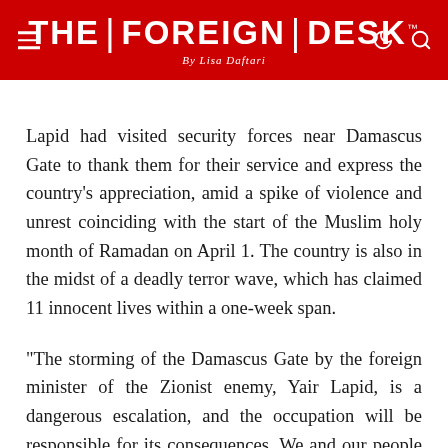THE FOREIGN DESK By Lisa Daftari
Lapid had visited security forces near Damascus Gate to thank them for their service and express the country’s appreciation, amid a spike of violence and unrest coinciding with the start of the Muslim holy month of Ramadan on April 1. The country is also in the midst of a deadly terror wave, which has claimed 11 innocent lives within a one-week span.
“The storming of the Damascus Gate by the foreign minister of the Zionist enemy, Yair Lapid, is a dangerous escalation, and the occupation will be responsible for its consequences. We and our people pledge to protect Jerusalem and Al-Aqsa Mosque,” said Hamas in a statement.